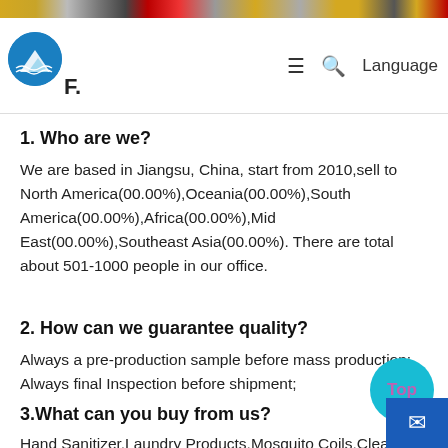FAQ | Language
1. Who are we?
We are based in Jiangsu, China, start from 2010,sell to North America(00.00%),Oceania(00.00%),South America(00.00%),Africa(00.00%),Mid East(00.00%),Southeast Asia(00.00%). There are total about 501-1000 people in our office.
2. How can we guarantee quality?
Always a pre-production sample before mass production;
Always final Inspection before shipment;
3.What can you buy from us?
Hand Sanitizer,Laundry Products,Mosquito Coils,Clea...